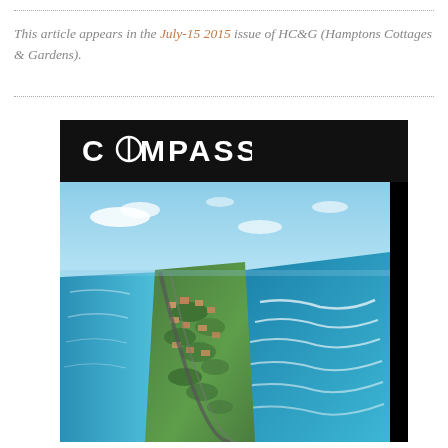This article appears in the July-15 2015 issue of HC&G (Hamptons Cottages & Gardens).
[Figure (photo): Compass real estate branding card with black header showing COMPASS logo, over an aerial photograph of a coastal barrier island community with ocean waves, intracoastal waterway, and dense residential development.]